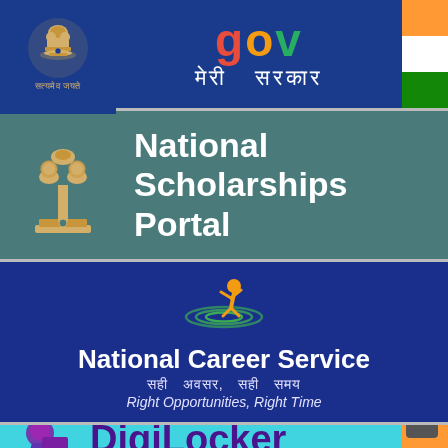[Figure (logo): GOV - Meri Sarkar banner with Indian government emblem, GOV text in red/orange/green, Hindi text 'मेरी सरकार', and Indian flag strip]
[Figure (logo): National Scholarships Portal banner with Ashoka Emblem logo on teal background and white text 'National Scholarships Portal']
[Figure (logo): National Career Service banner on dark blue background with NCS logo (orange figure with green ripples), text in white and light purple. Hindi: सही अवसर, सही समय. English: Right Opportunities, Right Time]
[Figure (logo): DigiLocker banner on cyan/turquoise background with purple DigiLocker logo icon and purple text 'DigiLocker', Indian flag strip in corner]